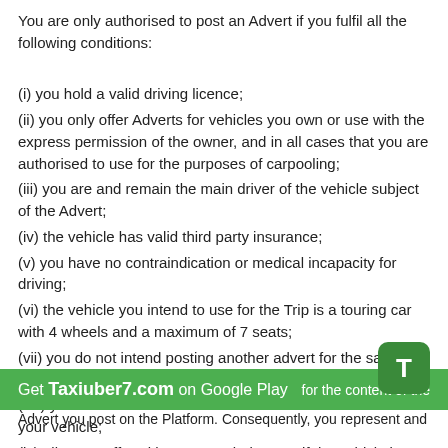You are only authorised to post an Advert if you fulfil all the following conditions:

(i) you hold a valid driving licence;
(ii) you only offer Adverts for vehicles you own or use with the express permission of the owner, and in all cases that you are authorised to use for the purposes of carpooling;
(iii) you are and remain the main driver of the vehicle subject of the Advert;
(iv) the vehicle has valid third party insurance;
(v) you have no contraindication or medical incapacity for driving;
(vi) the vehicle you intend to use for the Trip is a touring car with 4 wheels and a maximum of 7 seats;
(vii) you do not intend posting another advert for the same Trip on the Platform;
(viii) you do not offer more Seats than the number available in your vehicle;
(ix) all Seats offered have a seatbelt, even if the vehicle is approved with seats having no seatbelt;
(x) to use a vehicle in good working order and which complies with the applicable legal provisions and customs, notably with an up-to-date MoT certificate.
Get Taxiuber7.com on Google Play for the content of the Advert you post on the Platform. Consequently, you represent and